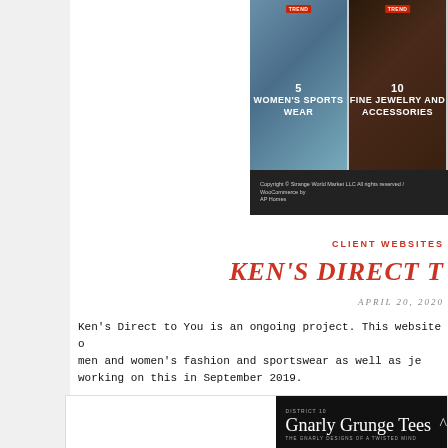[Figure (screenshot): Screenshot of a website showing two product category panels: 'Women's Sports Wear' (labeled 5) and 'Fine Jewelry and Accessories' (labeled 10), with a dark footer bar containing copyright text.]
CLIENT WEBSITES
KEN'S DIRECT T
APRIL 20, 2020
Ken's Direct to You is an ongoing project. This website o men and women's fashion and sportswear as well as je working on this in September 2019.
[Figure (screenshot): Screenshot of Gnarly Grunge Tees website header with dark background showing 'DISTRICT 10', title 'Gnarly Grunge Tees', and subtitle 'THE GNARLY DESIGNS OF A TWISTED MIND' with an upward chevron.]